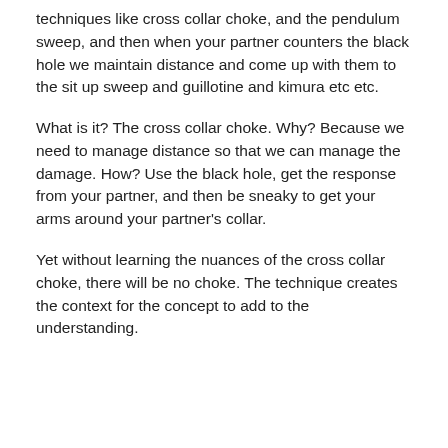techniques like cross collar choke, and the pendulum sweep, and then when your partner counters the black hole we maintain distance and come up with them to the sit up sweep and guillotine and kimura etc etc.
What is it? The cross collar choke. Why? Because we need to manage distance so that we can manage the damage. How? Use the black hole, get the response from your partner, and then be sneaky to get your arms around your partner's collar.
Yet without learning the nuances of the cross collar choke, there will be no choke. The technique creates the context for the concept to add to the understanding.